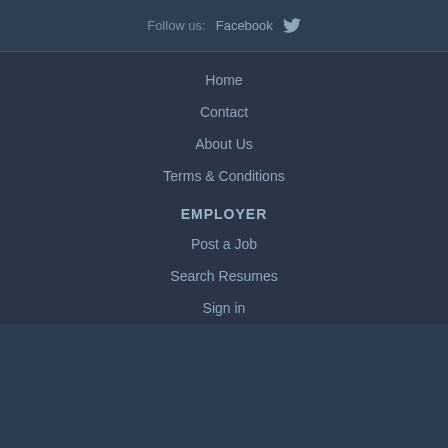Follow us:  Facebook  🐦
Home
Contact
About Us
Terms & Conditions
EMPLOYER
Post a Job
Search Resumes
Sign in